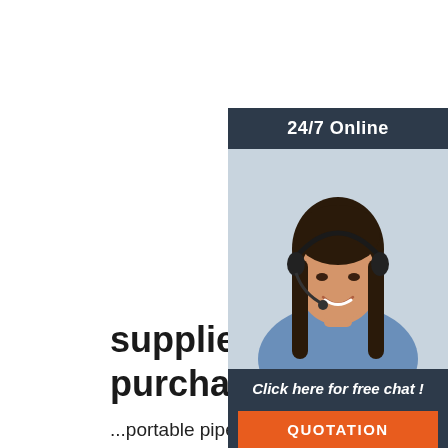[Figure (photo): Customer service representative wearing a headset and smiling, photo used in a 24/7 online chat widget sidebar]
suppliers chamfering mach... purchase quote
...portable pipe beveling machines, pipe chamfering machines, pipe cutting machines, automatic.welding machines, tube beveling machines.fixed type pipe bevelling machine, pipe